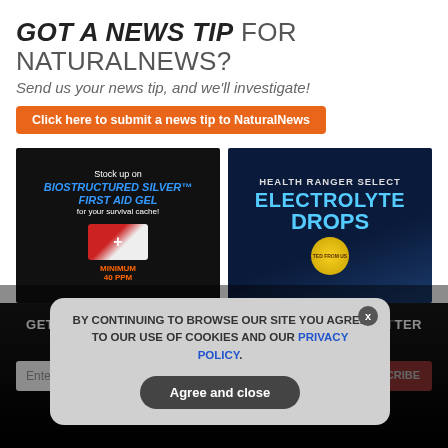GOT A NEWS TIP FOR NATURALNEWS?
Send us your news tip, and we'll investigate!
Click here to submit a news tip to NaturalNews
[Figure (illustration): Ad for Biostructured Silver First Aid Gel for survival cache, minimum 40 ppm]
[Figure (illustration): Ad for Health Ranger Select Electrolyte Drops]
GET THE WORLD'S BEST NATURAL HEALTH NEWSLETTER DELIVERED STRAIGHT TO YOUR INBOX
Enter Your Email Address
SUBSCRIBE
BY CONTINUING TO BROWSE OUR SITE YOU AGREE TO OUR USE OF COOKIES AND OUR PRIVACY POLICY.
Agree and close